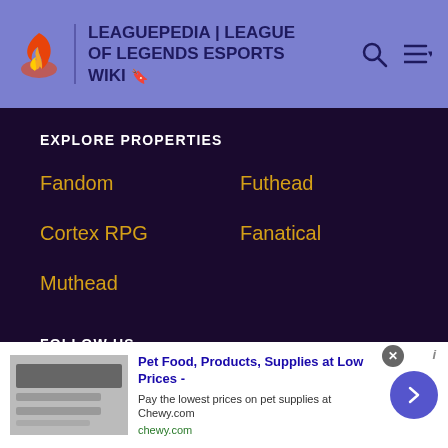LEAGUEPEDIA | LEAGUE OF LEGENDS ESPORTS WIKI
EXPLORE PROPERTIES
Fandom
Futhead
Cortex RPG
Fanatical
Muthead
FOLLOW US
[Figure (infographic): Social media icons: Facebook, Twitter, YouTube, Instagram, LinkedIn]
OVERVIEW
Pet Food, Products, Supplies at Low Prices - Pay the lowest prices on pet supplies at Chewy.com chewy.com